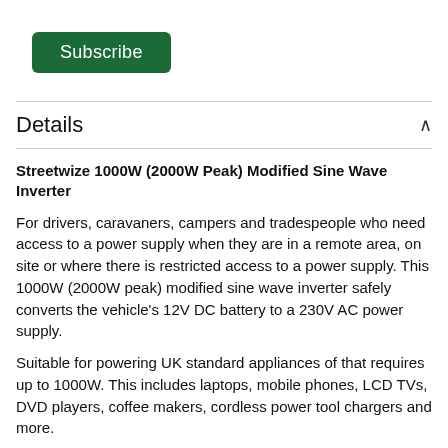[Figure (other): Green Subscribe button]
Details
Streetwize 1000W (2000W Peak) Modified Sine Wave Inverter
For drivers, caravaners, campers and tradespeople who need access to a power supply when they are in a remote area, on site or where there is restricted access to a power supply. This 1000W (2000W peak) modified sine wave inverter safely converts the vehicle's 12V DC battery to a 230V AC power supply.
Suitable for powering UK standard appliances of that requires up to 1000W. This includes laptops, mobile phones, LCD TVs, DVD players, coffee makers, cordless power tool chargers and more.
The inverter comes in an anodized aluminium case with a built-in cooling fan to protect against overheating.
Compatible with most 12V cars, 4x4s, lorries and